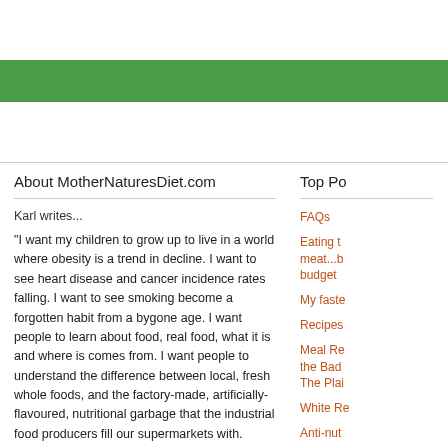About MotherNaturesDiet.com
Karl writes...
"I want my children to grow up to live in a world where obesity is a trend in decline. I want to see heart disease and cancer incidence rates falling. I want to see smoking become a forgotten habit from a bygone age. I want people to learn about food, real food, what it is and where is comes from. I want people to understand the difference between local, fresh whole foods, and the factory-made, artificially-flavoured, nutritional garbage that the industrial food producers fill our supermarkets with.
Top Po...
FAQs
Eating t... meat...b... budget
My faste...
Recipes
Meal Re... the Bad... The Plai...
White Re...
Anti-nut...
Alcohol